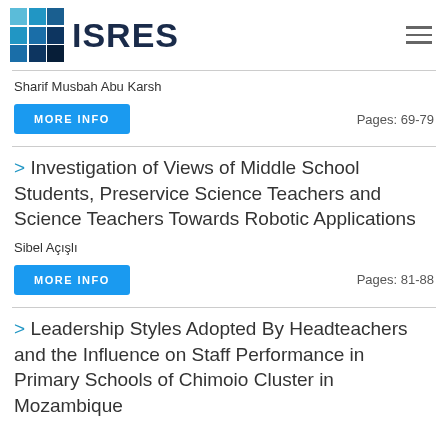ISRES
Sharif Musbah Abu Karsh
MORE INFO    Pages: 69-79
> Investigation of Views of Middle School Students, Preservice Science Teachers and Science Teachers Towards Robotic Applications
Sibel Açışlı
MORE INFO    Pages: 81-88
> Leadership Styles Adopted By Headteachers and the Influence on Staff Performance in Primary Schools of Chimoio Cluster in Mozambique